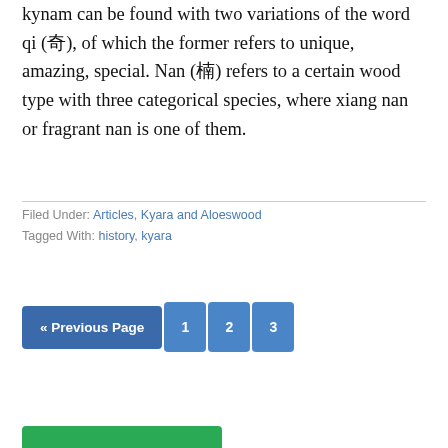kynam can be found with two variations of the word qi (奇), of which the former refers to unique, amazing, special. Nan (楠) refers to a certain wood type with three categorical species, where xiang nan or fragrant nan is one of them.
Filed Under: Articles, Kyara and Aloeswood
Tagged With: history, kyara
[Figure (other): Pagination bar with « Previous Page button and numbered page buttons 1, 2, 3]
[Figure (other): Green bar at bottom of page (partial)]